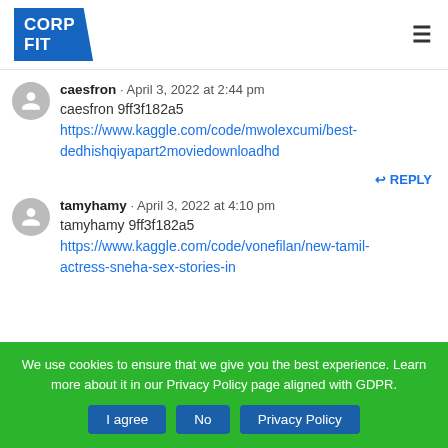[Figure (logo): CORP FIT logo, blue background with white text, diagonal cut on right side]
caesfron · April 3, 2022 at 2:44 pm
caesfron 9ff3f182a5
https://www.kaggle.com/code/mwolexcumi/best-dedhishqiyapart2moviedownloadhd
↩ REPLY
tamyhamy · April 3, 2022 at 4:10 pm
tamyhamy 9ff3f182a5
https://www.kaggle.com/code/vonefilan/new-tamil-actress-sneha-sex-stories-in
We use cookies to ensure that we give you the best experience. Learn more about it in our Privacy Policy page aligned with GDPR.
I agree | No | Privacy Policy